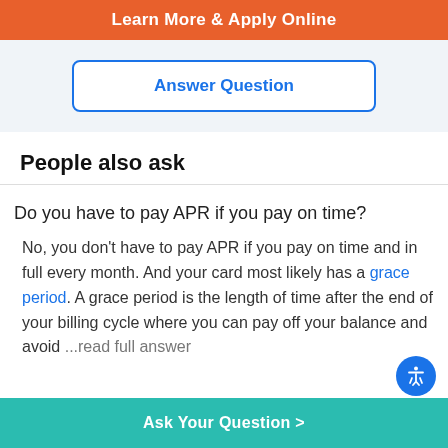Learn More & Apply Online
Answer Question
People also ask
Do you have to pay APR if you pay on time?
No, you don't have to pay APR if you pay on time and in full every month. And your card most likely has a grace period. A grace period is the length of time after the end of your billing cycle where you can pay off your balance and avoid ...read full answer
Ask Your Question >